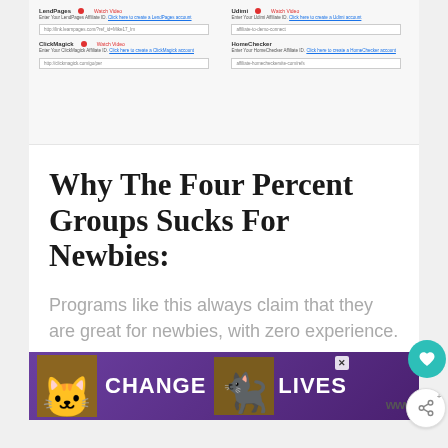[Figure (screenshot): Screenshot of a web form with fields for LendPages, Udimi, ClickMagick, and HomeChecker affiliate IDs with Watch Video links and URL input fields.]
Why The Four Percent Groups Sucks For Newbies:
Programs like this always claim that they are great for newbies, with zero experience.
[Figure (illustration): Advertisement banner with purple background showing cats and text 'CHANGE LIVES' with a close button and brand logo.]